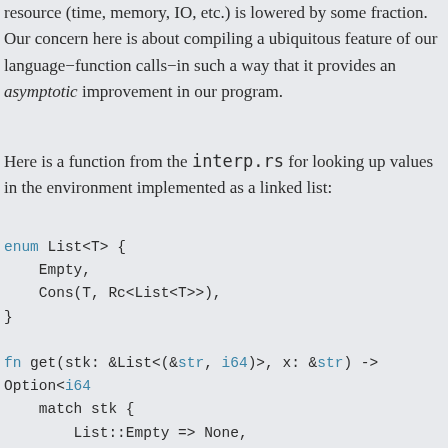resource (time, memory, IO, etc.) is lowered by some fraction. Our concern here is about compiling a ubiquitous feature of our language−function calls−in such a way that it provides an asymptotic improvement in our program.
Here is a function from the interp.rs for looking up values in the environment implemented as a linked list:
enum List<T> {
    Empty,
    Cons(T, Rc<List<T>>),
}

fn get(stk: &List<(&str, i64)>, x: &str) -> Option<i64> {
    match stk {
        List::Empty => None,
        List::Cons((y, n), stk) => {
            if x == *y {
                Some(*n)
            } else {